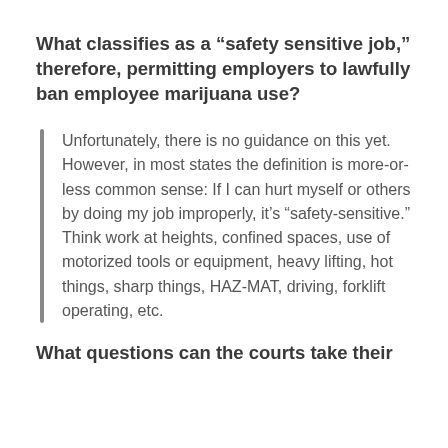What classifies as a “safety sensitive job,” therefore, permitting employers to lawfully ban employee marijuana use?
Unfortunately, there is no guidance on this yet. However, in most states the definition is more-or-less common sense: If I can hurt myself or others by doing my job improperly, it’s “safety-sensitive.” Think work at heights, confined spaces, use of motorized tools or equipment, heavy lifting, hot things, sharp things, HAZ-MAT, driving, forklift operating, etc.
What questions can the courts take their